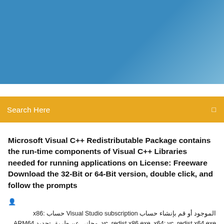[Figure (photo): Blue gradient header banner image with sky/cloud background]
Search Here
Microsoft Visual C++ Redistributable Package contains the run-time components of Visual C++ Libraries needed for running applications on License: Freeware Download the 32-Bit or 64-Bit version, double click, and follow the prompts
الموجود أو قم بإنشاء حساب Visual Studio subscription حساب x86: vc_redist.x86.exe. x64: vc_redist.x64.exe. مجاني عن طريق تحديد ARM64 vc_redist.arm64.exe.  |
8 Comments